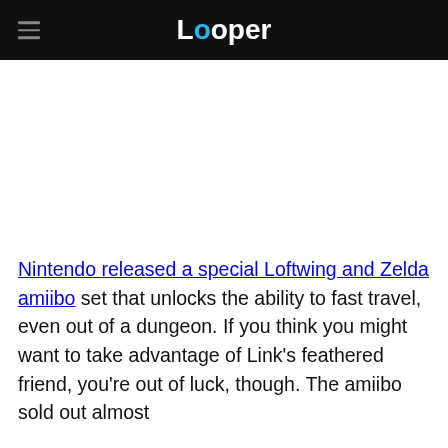Looper
Nintendo released a special Loftwing and Zelda amiibo set that unlocks the ability to fast travel, even out of a dungeon. If you think you might want to take advantage of Link's feathered friend, you're out of luck, though. The amiibo sold out almost instantly, leaving many fans frustrated. A